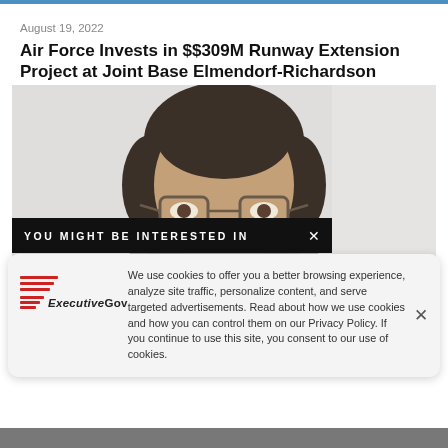August 19, 2022
Air Force Invests in $$309M Runway Extension Project at Joint Base Elmendorf-Richardson
[Figure (photo): Headshot of a man with glasses and dark hair, smiling, against a light background]
YOU MIGHT BE INTERESTED IN
We use cookies to offer you a better browsing experience, analyze site traffic, personalize content, and serve targeted advertisements. Read about how we use cookies and how you can control them on our Privacy Policy. If you continue to use this site, you consent to our use of cookies.